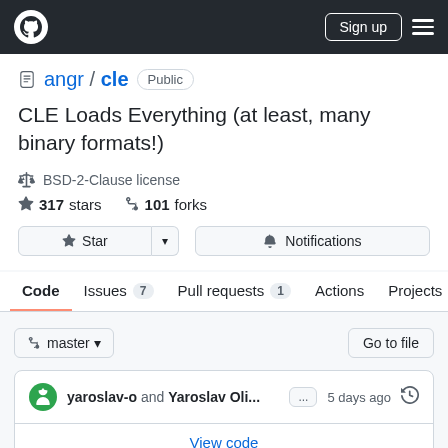GitHub navigation bar with logo, Sign up button, and menu
angr / cle  Public
CLE Loads Everything (at least, many binary formats!)
BSD-2-Clause license
317 stars   101 forks
Star  Notifications
Code  Issues 7  Pull requests 1  Actions  Projects
master  Go to file
yaroslav-o and Yaroslav Oli...  ...  5 days ago  (history icon)
View code